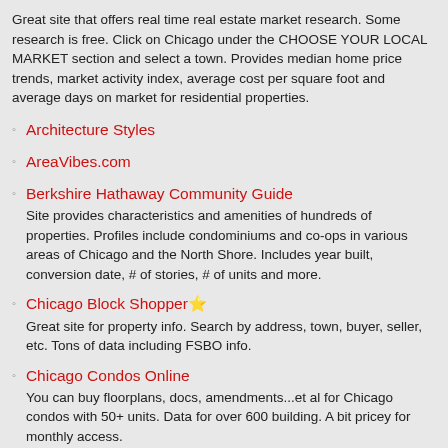Great site that offers real time real estate market research. Some research is free. Click on Chicago under the CHOOSE YOUR LOCAL MARKET section and select a town. Provides median home price trends, market activity index, average cost per square foot and average days on market for residential properties.
Architecture Styles
AreaVibes.com
Berkshire Hathaway Community Guide
Site provides characteristics and amenities of hundreds of properties. Profiles include condominiums and co-ops in various areas of Chicago and the North Shore. Includes year built, conversion date, # of stories, # of units and more.
Chicago Block Shopper⭐
Great site for property info. Search by address, town, buyer, seller, etc. Tons of data including FSBO info.
Chicago Condos Online
You can buy floorplans, docs, amendments...et al for Chicago condos with 50+ units. Data for over 600 building. A bit pricey for monthly access.
Chicago Historical Property Search⭐
Type in an address to determine if your property is designated as a historical landmark.